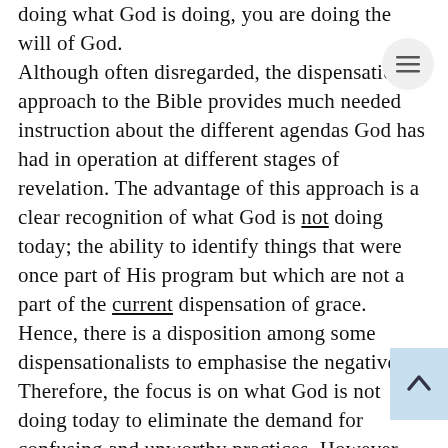doing what God is doing, you are doing the will of God. Although often disregarded, the dispensational approach to the Bible provides much needed instruction about the different agendas God has had in operation at different stages of revelation. The advantage of this approach is a clear recognition of what God is not doing today; the ability to identify things that were once part of His program but which are not a part of the current dispensation of grace. Hence, there is a disposition among some dispensationalists to emphasise the negatives. Therefore, the focus is on what God is not doing today to eliminate the demand for confusing and unworthy practices. However, we must accentuate the positive just as vigorously. We must give adequate attention to what it is that God is doing today so that we can understand what imbues the